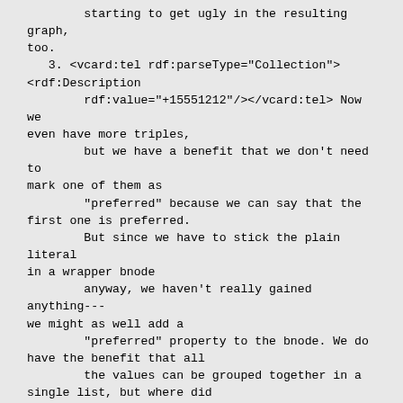starting to get ugly in the resulting graph, too.
   3. <vcard:tel rdf:parseType="Collection">
<rdf:Description
        rdf:value="+15551212"/></vcard:tel> Now we even have more triples,
        but we have a benefit that we don't need to mark one of them as
        "preferred" because we can say that the first one is preferred.
        But since we have to stick the plain literal in a wrapper bnode
        anyway, we haven't really gained anything---we might as well add a
        "preferred" property to the bnode. We do have the benefit that all
        the values can be grouped together in a single list, but where did
        the simplicity of option #1 go? We were sold RDF with tidy
        examples like option #1, but are we finding out that in real life
        we must use an rdf:List of bnodes for everything? We might as well
        change the RDF specification to say, "An RDF statement consists of
        a resource subject, a resource predicate, and a list object!"